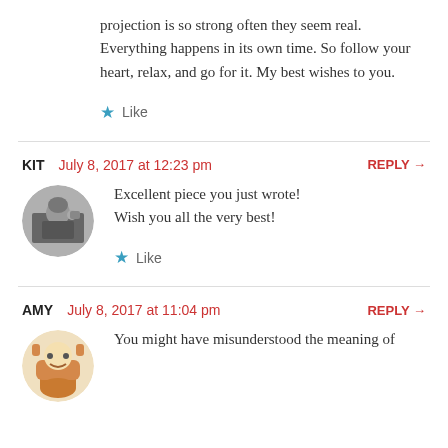projection is so strong often they seem real. Everything happens in its own time. So follow your heart, relax, and go for it. My best wishes to you.
★ Like
KIT   July 8, 2017 at 12:23 pm   REPLY →
Excellent piece you just wrote! Wish you all the very best!
★ Like
AMY   July 8, 2017 at 11:04 pm   REPLY →
You might have misunderstood the meaning of